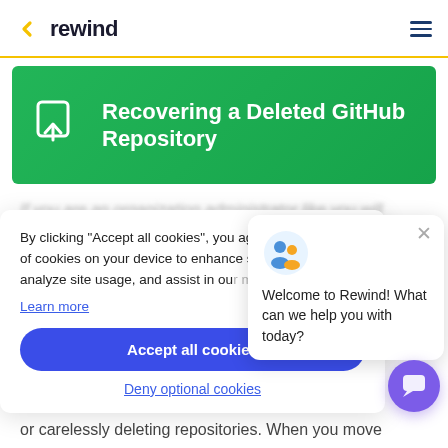rewind
[Figure (screenshot): Green banner with repository upload icon and title 'Recovering a Deleted GitHub Repository']
Recovering a Deleted GitHub Repository
By clicking "Accept all cookies", you agree to the storing of cookies on your device to enhance site navigation, analyze site usage, and assist in our marketing efforts.
Learn more
Accept all cookies
Deny optional cookies
Welcome to Rewind! What can we help you with today?
or carelessly deleting repositories. When you move